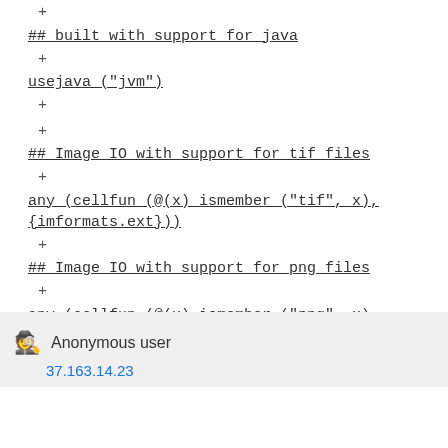+
## built with support for java
+
usejava ("jvm")
+
+
## Image IO with support for tif files
+
any (cellfun (@(x) ismember ("tif", x),{imformats.ext}))
+
## Image IO with support for png files
+
any (cellfun (@(x) ismember ("png", x),{imformats.ext}))
Anonymous user
37.163.14.23